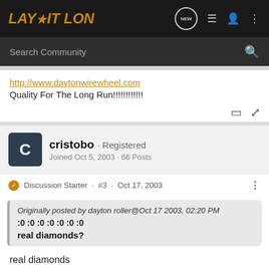LAY IT LOW
http://www.daytonwirewheel.com
Quality For The Long Run!!!!!!!!!!!
cristobo · Registered
Joined Oct 5, 2003 · 66 Posts
Discussion Starter · #3 · Oct 17, 2003
Originally posted by dayton roller@Oct 17 2003, 02:20 PM
:0 :0 :0 :0 :0 :0 :0
real diamonds?
real diamonds